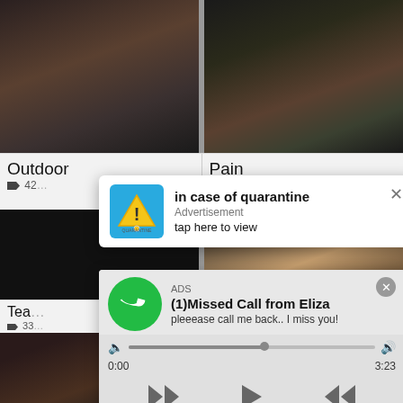[Figure (screenshot): Two video thumbnails side by side showing blurry video content]
Outdoor
42...
Pain
[Figure (screenshot): Two more video thumbnail images in the middle row]
Tea...
33...
[Figure (screenshot): Advertisement popup: in case of quarantine - Advertisement - tap here to view]
[Figure (screenshot): Advertisement popup: ADS - (1)Missed Call from Eliza - pleeease call me back.. I miss you! with audio player showing 0:00 to 3:23]
[Figure (screenshot): Two video thumbnails at bottom including one with JUGGYCAMS.COM badge]